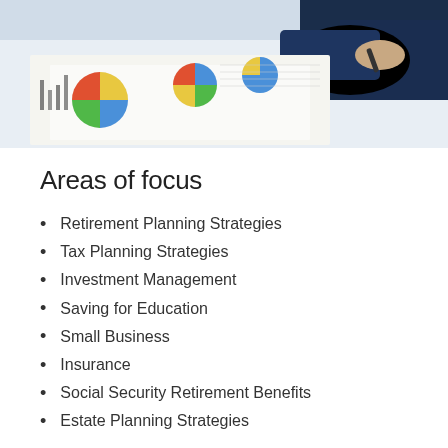[Figure (photo): Business person reviewing financial charts and pie graphs on paper documents, viewed from above at an angle]
Areas of focus
Retirement Planning Strategies
Tax Planning Strategies
Investment Management
Saving for Education
Small Business
Insurance
Social Security Retirement Benefits
Estate Planning Strategies